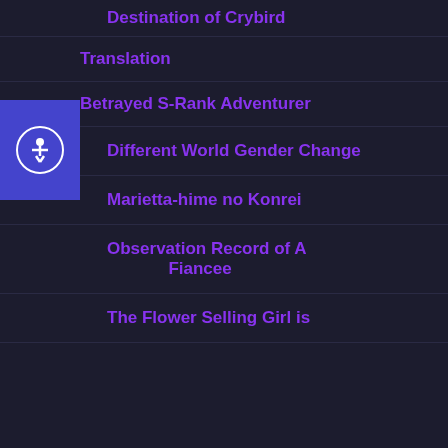Destination of Crybird
Translation
Betrayed S-Rank Adventurer
Different World Gender Change
Marietta-hime no Konrei
Observation Record of A... Fiancee
The Flower Selling Girl is...
We use cookies to ensure that we give you the best experience on
[Figure (screenshot): Advertisement banner for Trending Flowers & Gifts from 1800flowers.com with flower bouquet image and navigation arrow button]